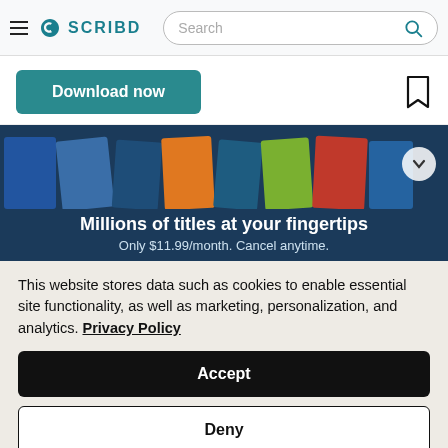Scribd navigation bar with hamburger menu, Scribd logo, and search bar
Download now
[Figure (screenshot): Book covers banner showing multiple book tiles and a chevron button]
Millions of titles at your fingertips
Only $11.99/month. Cancel anytime.
This website stores data such as cookies to enable essential site functionality, as well as marketing, personalization, and analytics. Privacy Policy
Accept
Deny